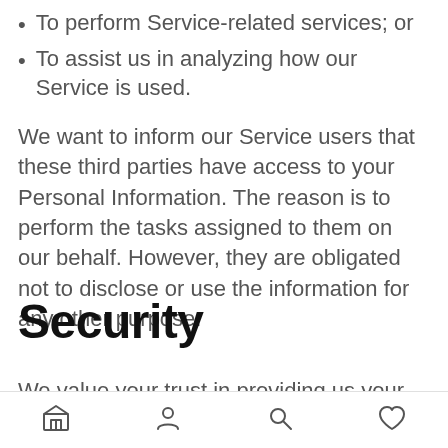To perform Service-related services; or
To assist us in analyzing how our Service is used.
We want to inform our Service users that these third parties have access to your Personal Information. The reason is to perform the tasks assigned to them on our behalf. However, they are obligated not to disclose or use the information for any other purpose.
Security
We value your trust in providing us your